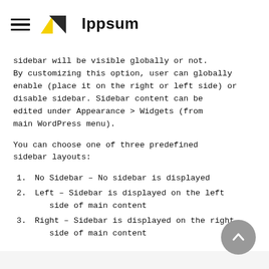Ippsum
sidebar will be visible globally or not. By customizing this option, user can globally enable (place it on the right or left side) or disable sidebar. Sidebar content can be edited under Appearance > Widgets (from main WordPress menu).
You can choose one of three predefined sidebar layouts:
1. No Sidebar – No sidebar is displayed
2. Left – Sidebar is displayed on the left side of main content
3. Right – Sidebar is displayed on the right side of main content